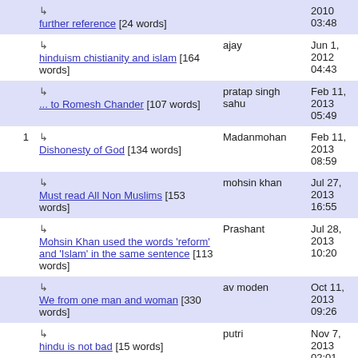|  | Topic | Author | Date |
| --- | --- | --- | --- |
|  | ↳ further reference [24 words] |  | 2010 03:48 |
|  | ↳ hinduism chistianity and islam [164 words] | ajay | Jun 1, 2012 04:43 |
|  | ↳ ... to Romesh Chander [107 words] | pratap singh sahu | Feb 11, 2013 05:49 |
| 1 | ↳ Dishonesty of God [134 words] | Madanmohan | Feb 11, 2013 08:59 |
|  | ↳ Must read All Non Muslims [153 words] | mohsin khan | Jul 27, 2013 16:55 |
|  | ↳ Mohsin Khan used the words 'reform' and 'Islam' in the same sentence [113 words] | Prashant | Jul 28, 2013 10:20 |
|  | ↳ We from one man and woman [330 words] | av moden | Oct 11, 2013 09:26 |
|  | ↳ hindu is not bad [15 words] | putri | Nov 7, 2013 02:01 |
|  | ↳ about Muslims [47 words] | aadarsh soni | Nov 28, 2013 |